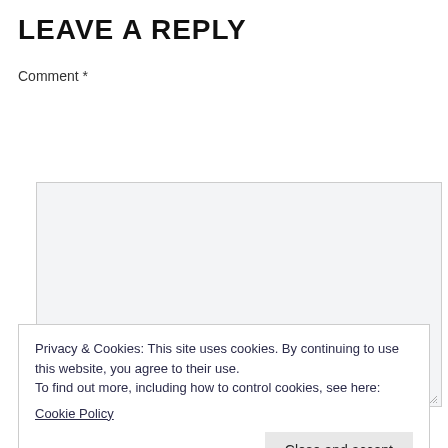LEAVE A REPLY
Comment *
Privacy & Cookies: This site uses cookies. By continuing to use this website, you agree to their use.
To find out more, including how to control cookies, see here:
Cookie Policy
Close and accept